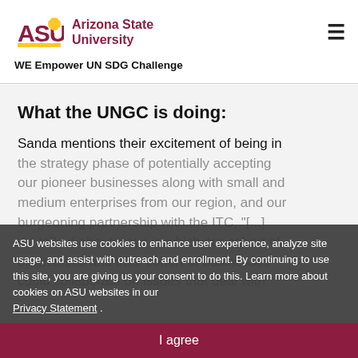Arizona State University — WE Empower UN SDG Challenge
What the UNGC is doing:
Sanda mentions their excitement of being in the strategy phase of potentially accepting our pioneer businesses along with small and medium enterprises from our region, and our burgeoning partnership with the ITC, "[...] we talked about ways in which our cohort of businesses and their cohort of businesses could collaborate on issues that deal with
ASU websites use cookies to enhance user experience, analyze site usage, and assist with outreach and enrollment. By continuing to use this site, you are giving us your consent to do this. Learn more about cookies on ASU websites in our Privacy Statement .
I agree